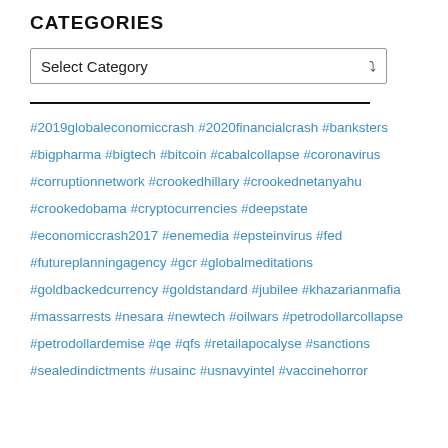CATEGORIES
Select Category
#2019globaleconomiccrash #2020financialcrash #banksters #bigpharma #bigtech #bitcoin #cabalcollapse #coronavirus #corruptionnetwork #crookedhillary #crookednetanyahu #crookedobama #cryptocurrencies #deepstate #economiccrash2017 #enemedia #epsteinvirus #fed #futureplanningagency #gcr #globalmeditations #goldbackedcurrency #goldstandard #jubilee #khazarianmafia #massarrests #nesara #newtech #oilwars #petrodollarcollapse #petrodollardemise #qe #qfs #retailapocalyse #sanctions #sealedindictments #usainc #usnavyintel #vaccinehorror